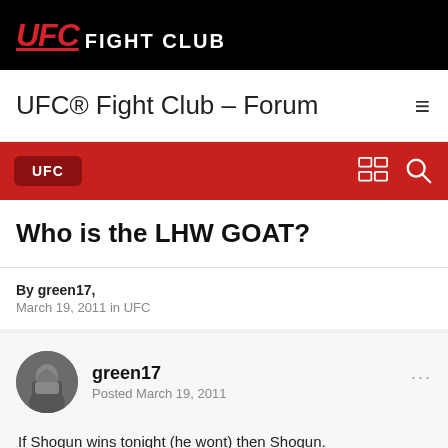[Figure (logo): UFC Fight Club logo on black background — red italic UFC text with underline, white bold FIGHT CLUB text]
UFC® Fight Club – Forum
UFC
Who is the LHW GOAT?
By green17, March 19, 2011 in UFC
[Figure (photo): Circular avatar of user green17 showing a fighter]
green17
Posted March 19, 2011
If Shogun wins tonight (he wont) then Shogun.